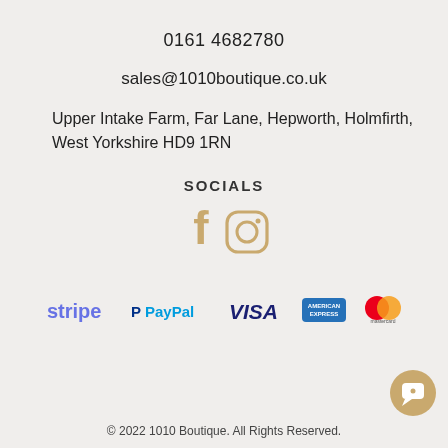0161 4682780
sales@1010boutique.co.uk
Upper Intake Farm, Far Lane, Hepworth, Holmfirth, West Yorkshire HD9 1RN
SOCIALS
[Figure (logo): Facebook and Instagram social media icons in tan/gold color]
[Figure (logo): Payment method logos: Stripe, PayPal, VISA, American Express, Mastercard]
© 2022 1010 Boutique. All Rights Reserved.